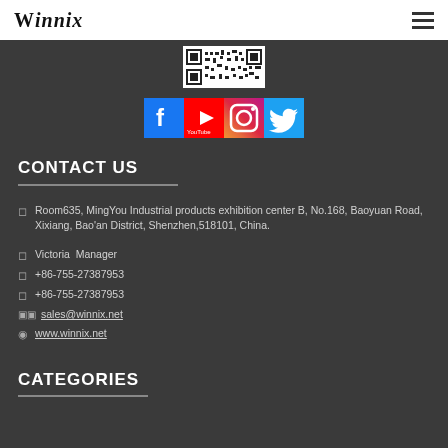Winnix
[Figure (other): QR code partial view at top of dark section]
[Figure (other): Social media icons: Facebook, YouTube, Instagram, Twitter]
CONTACT US
Room635, MingYou Industrial products exhibition center B, No.168, Baoyuan Road, Xixiang, Bao'an District, Shenzhen,518101, China.
Victoria  Manager
+86-755-27387953
+86-755-27387953
sales@winnix.net
www.winnix.net
CATEGORIES